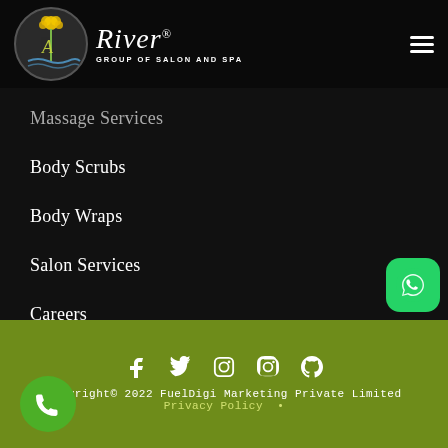[Figure (logo): River Group of Salon and Spa logo with circular emblem and stylized script text]
Massage Services
Body Scrubs
Body Wraps
Salon Services
Careers
Gallery
[Figure (infographic): Social media icons: Facebook, Twitter, Instagram, Pinterest]
Copyright© 2022 FuelDigi Marketing Private Limited
Privacy Policy •